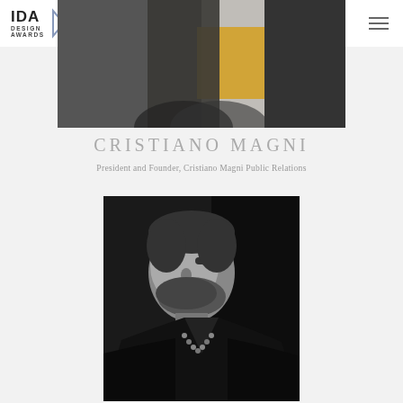[Figure (logo): IDA Design Awards logo with stylized arrow/wing graphic in blue-grey]
[Figure (photo): Top cropped photo showing person in yellow jacket against dark background]
CRISTIANO MAGNI
President and Founder, Cristiano Magni Public Relations
[Figure (photo): Black and white portrait photo of Cristiano Magni, bearded man wearing dark jacket with beaded necklace]